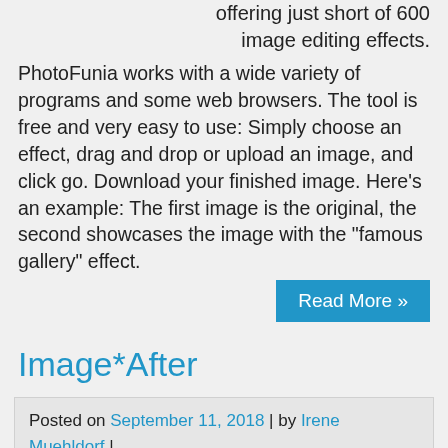offering just short of 600 image editing effects. PhotoFunia works with a wide variety of programs and some web browsers. The tool is free and very easy to use: Simply choose an effect, drag and drop or upload an image, and click go. Download your finished image. Here’s an example: The first image is the original, the second showcases the image with the “famous gallery” effect.
Read More »
Image*After
Posted on September 11, 2018 | by Irene Muehldorf | Image*After link
Image*After is a Netherlands-based online collection of roughly 30,000 royalty free photos. Images and textures